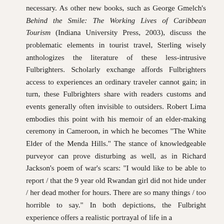necessary. As other new books, such as George Gmelch's Behind the Smile: The Working Lives of Caribbean Tourism (Indiana University Press, 2003), discuss the problematic elements in tourist travel, Sterling wisely anthologizes the literature of these less-intrusive Fulbrighters. Scholarly exchange affords Fulbrighters access to experiences an ordinary traveler cannot gain; in turn, these Fulbrighters share with readers customs and events generally often invisible to outsiders. Robert Lima embodies this point with his memoir of an elder-making ceremony in Cameroon, in which he becomes "The White Elder of the Menda Hills." The stance of knowledgeable purveyor can prove disturbing as well, as in Richard Jackson's poem of war's scars: "I would like to be able to report / that the 9 year old Rwandan girl did not hide under / her dead mother for hours. There are so many things / too horrible to say." In both depictions, the Fulbright experience offers a realistic portrayal of life in a